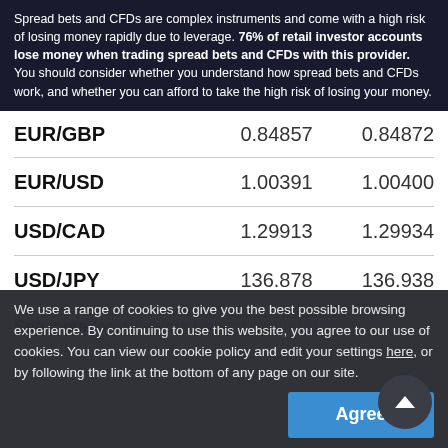Spread bets and CFDs are complex instruments and come with a high risk of losing money rapidly due to leverage. 76% of retail investor accounts lose money when trading spread bets and CFDs with this provider. You should consider whether you understand how spread bets and CFDs work, and whether you can afford to take the high risk of losing your money.
|  |  |  |
| --- | --- | --- |
| EUR/GBP | 0.84857 | 0.84872 |
| EUR/USD | 1.00391 | 1.00400 |
| USD/CAD | 1.29913 | 1.29934 |
| USD/JPY | 136.878 | 136.938 |
See more forex live prices
Prices above are subject to our website terms and agreements. By continuing to use this website, you agree to our use of cookies. You can view our cookie policy and edit your settings here, or by following the link at the bottom of any page on our site.